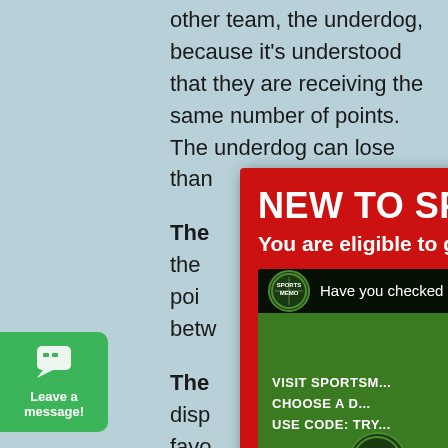other team, the underdog, because it's understood that they are receiving the same number of points. The underdog can lose than
The the poi betw
The disp favo of th a pl mea
[Figure (screenshot): Promotional modal popup overlay on a sports betting website. Red background with white text reading 'NEW TO SPORTSMEMO?' and 'You are eligible to get your first daily picks package for 50% OFF!'. Contains an embedded YouTube video thumbnail showing the SportsMemo channel with a woman. Below is a white button reading 'Redeem TRYMEMO 50% OFF New User Coupon' with an arrow.]
[Figure (screenshot): Green chat widget in bottom left corner with speech bubble icon and text 'Leave a message!']